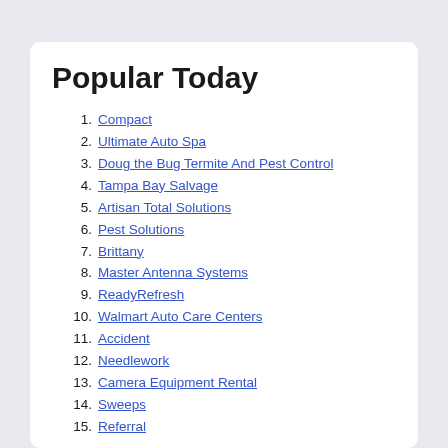Popular Today
1. Compact
2. Ultimate Auto Spa
3. Doug the Bug Termite And Pest Control
4. Tampa Bay Salvage
5. Artisan Total Solutions
6. Pest Solutions
7. Brittany
8. Master Antenna Systems
9. ReadyRefresh
10. Walmart Auto Care Centers
11. Accident
12. Needlework
13. Camera Equipment Rental
14. Sweeps
15. Referral